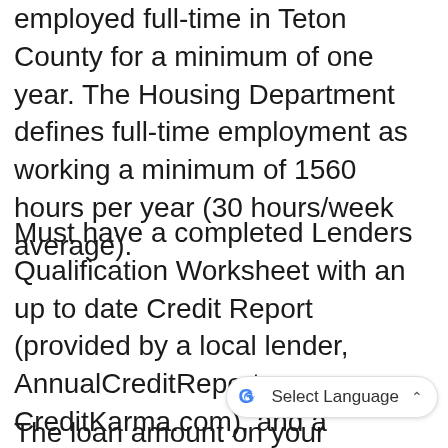employed full-time in Teton County for a minimum of one year. The Housing Department defines full-time employment as working a minimum of 1560 hours per year (30 hours/week average).
Must have a completed Lenders Qualification Worksheet with an up to date Credit Report (provided by a local lender, AnnualCreditReport.com, or CreditKarma.com), and a completed Home Buyer Education Class Certificate all must be attached to the Weighted Drawing Entry Sheet or on file with the Housing Department. The Housing Department will keep your Lender's Qualification on file for one year. The Home Buyer Education Certificate is good indefinitely.
The loan amount on your Lender's